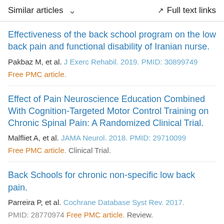Similar articles  ˅  Full text links
Effectiveness of the back school program on the low back pain and functional disability of Iranian nurse.
Pakbaz M, et al. J Exerc Rehabil. 2019. PMID: 30899749
Free PMC article.
Effect of Pain Neuroscience Education Combined With Cognition-Targeted Motor Control Training on Chronic Spinal Pain: A Randomized Clinical Trial.
Malfliet A, et al. JAMA Neurol. 2018. PMID: 29710099
Free PMC article. Clinical Trial.
Back Schools for chronic non-specific low back pain.
Parreira P, et al. Cochrane Database Syst Rev. 2017.
PMID: 28770974 Free PMC article. Review.